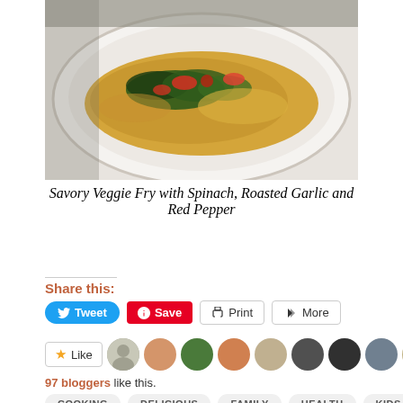[Figure (photo): A white plate with savory veggie fry topped with wilted spinach, roasted red pepper, and other vegetables]
Savory Veggie Fry with Spinach, Roasted Garlic and Red Pepper
Share this:
Tweet  Save  Print  More
97 bloggers like this.
COOKING  DELICIOUS  FAMILY  HEALTH  KIDS  PLANTBASED  RECIPES  VEGAN